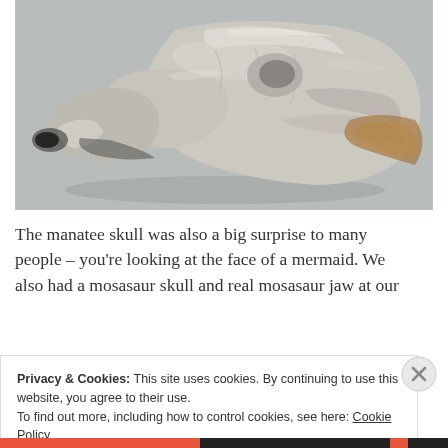[Figure (photo): A manatee skull photographed on a grey surface, showing the bone structure from a lateral/top-down angle. The skull is pale white/cream with some brown discoloration, displaying the distinctive broad nasal region.]
The manatee skull was also a big surprise to many people – you're looking at the face of a mermaid. We also had a mosasaur skull and real mosasaur jaw at our
Privacy & Cookies: This site uses cookies. By continuing to use this website, you agree to their use.
To find out more, including how to control cookies, see here: Cookie Policy
Close and accept